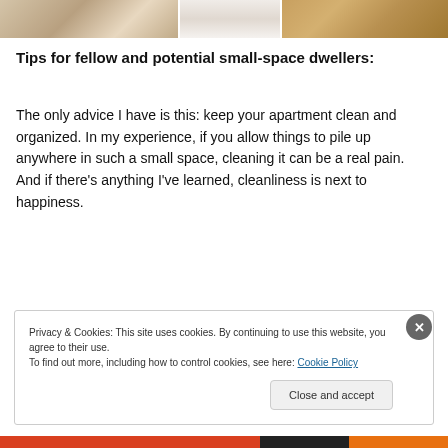[Figure (photo): Top strip showing partial interior room photos — bathroom with rug and toilet on left, white curtain/fabric in center, wooden furniture on right]
Tips for fellow and potential small-space dwellers:
The only advice I have is this: keep your apartment clean and organized. In my experience, if you allow things to pile up anywhere in such a small space, cleaning it can be a real pain. And if there’s anything I’ve learned, cleanliness is next to happiness.
[Figure (other): Dark horizontal advertisement bar with REPORT THIS AD label]
Privacy & Cookies: This site uses cookies. By continuing to use this website, you agree to their use.
To find out more, including how to control cookies, see here: Cookie Policy
Close and accept